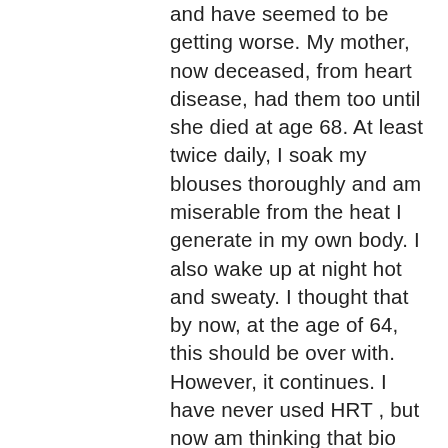and have seemed to be getting worse. My mother, now deceased, from heart disease, had them too until she died at age 68. At least twice daily, I soak my blouses thoroughly and am miserable from the heat I generate in my own body. I also wake up at night hot and sweaty. I thought that by now, at the age of 64, this should be over with. However, it continues. I have never used HRT , but now am thinking that bio identical hormonr therapy may make my quality of life better and, believe me, I am miserable now. My regular gynecologist does not prescribe bioidentical hormones, so I guess I will have to leave her and find another doctor that does. I will do anything at this point to feel better.